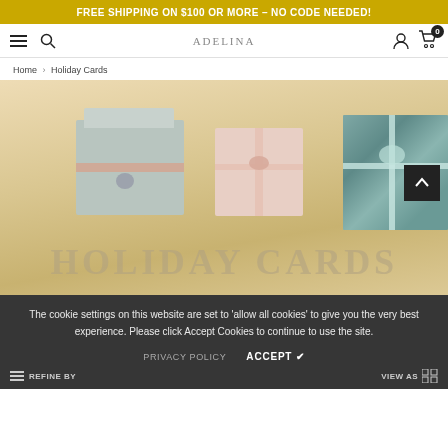FREE SHIPPING ON $100 OR MORE – NO CODE NEEDED!
ADELINA [logo] navigation bar with hamburger menu, search, account, cart (0)
Home > Holiday Cards
[Figure (photo): Holiday cards/gift boxes wrapped with ribbon on a light wood surface. Three wrapped packages visible: one square flat card set with pink ribbon on left, one smaller square box with pink bow in center, one teal/blue patterned box on right. A back-to-top arrow button (dark) visible in upper right. Text 'HOLIDAY CARDS' partially visible behind cookie overlay.]
The cookie settings on this website are set to 'allow all cookies' to give you the very best experience. Please click Accept Cookies to continue to use the site.
PRIVACY POLICY   ACCEPT ✔
REFINE BY
VIEW AS